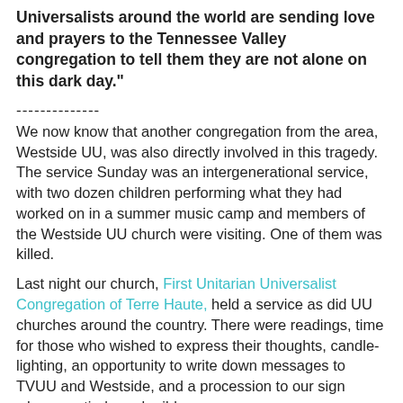Universalists around the world are sending love and prayers to the Tennessee Valley congregation to tell them they are not alone on this dark day."
--------------
We now know that another congregation from the area, Westside UU, was also directly involved in this tragedy. The service Sunday was an intergenerational service, with two dozen children performing what they had worked on in a summer music camp and members of the Westside UU church were visiting. One of them was killed.
Last night our church, First Unitarian Universalist Congregation of Terre Haute, held a service as did UU churches around the country. There were readings, time for those who wished to express their thoughts, candle-lighting, an opportunity to write down messages to TVUU and Westside, and a procession to our sign where we tied purple ribbons.
Our hearts hurt for our sister congregations.